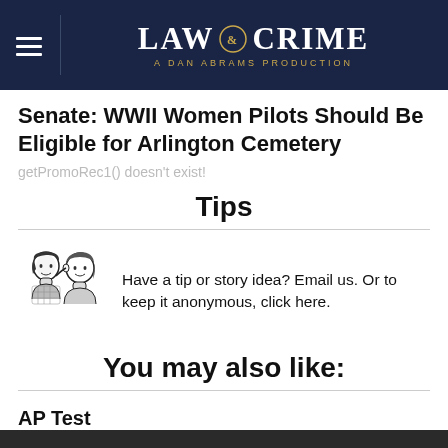LAW & CRIME — A DAN ABRAMS PRODUCTION
Senate: WWII Women Pilots Should Be Eligible for Arlington Cemetery
getPromoRec1() doesn't exist!
Tips
[Figure (illustration): Two women whispering to each other, vintage black and white illustration]
Have a tip or story idea? Email us. Or to keep it anonymous, click here.
You may also like:
AP Test
Jul 5th, 2019, 4:02 am